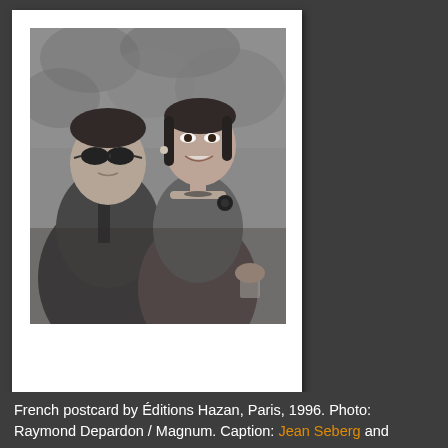[Figure (photo): Black and white photograph of a man wearing sunglasses and a woman in a sleeveless dress sitting together, possibly at a restaurant or social event, with a decorative wall behind them. The woman is holding a glass.]
French postcard by Éditions Hazan, Paris, 1996. Photo: Raymond Depardon / Magnum. Caption: Jean Seberg and